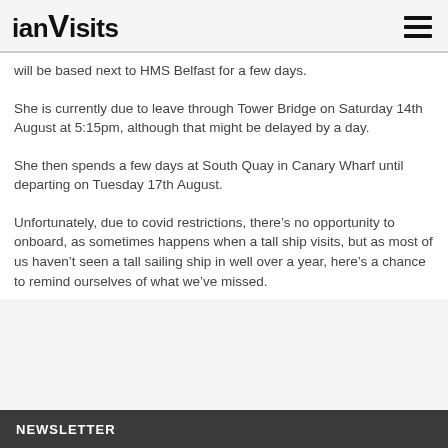ianVisits
will be based next to HMS Belfast for a few days.
She is currently due to leave through Tower Bridge on Saturday 14th August at 5:15pm, although that might be delayed by a day.
She then spends a few days at South Quay in Canary Wharf until departing on Tuesday 17th August.
Unfortunately, due to covid restrictions, there’s no opportunity to onboard, as sometimes happens when a tall ship visits, but as most of us haven’t seen a tall sailing ship in well over a year, here’s a chance to remind ourselves of what we’ve missed.
NEWSLETTER